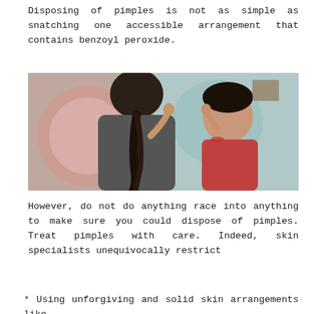Disposing of pimples is not as simple as snatching one accessible arrangement that contains benzoyl peroxide.
[Figure (photo): A teenage girl looking in a mirror and touching a pimple on her cheek, with her reflection visible in the mirror.]
However, do not do anything race into anything to make sure you could dispose of pimples. Treat pimples with care. Indeed, skin specialists unequivocally restrict
* Using unforgiving and solid skin arrangements like